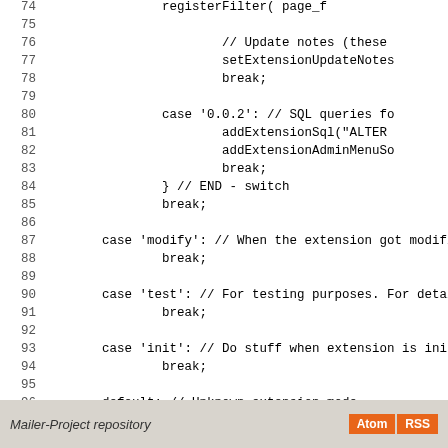[Figure (screenshot): Source code listing showing PHP switch/case block, lines 74-102, with line numbers on left and code on right. Background is white with monospace font.]
Mailer-Project repository   Atom  RSS